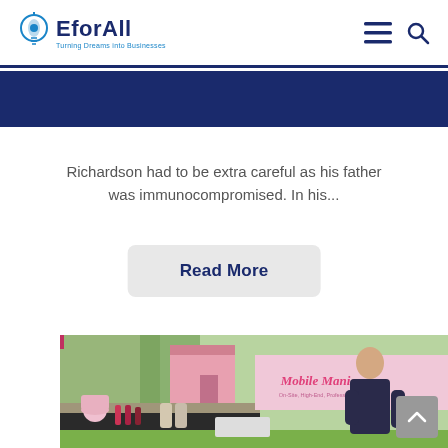EforAll — Turning Dreams into Businesses
Richardson had to be extra careful as his father was immunocompromised. In his...
Read More
[Figure (photo): Woman standing at an outdoor booth for 'Mobile Manicures — On-Site, High-End, Professional Nail Care' with nail polish products displayed on a table, in a grassy outdoor setting.]